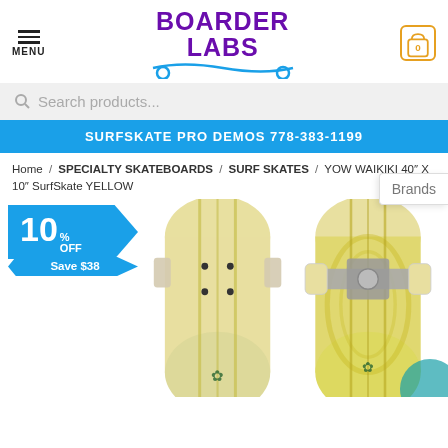MENU | BOARDER LABS | 0
Search products...
SURFSKATE PRO DEMOS 778-383-1199
Brands
Home / SPECIALTY SKATEBOARDS / SURF SKATES / YOW WAIKIKI 40" X 10" SurfSkate YELLOW
[Figure (photo): Two YOW Waikiki 40x10 SurfSkate YELLOW skateboards shown from above and below, with a 10% OFF / Save $38 discount badge in blue]
10 % OFF
Save $38